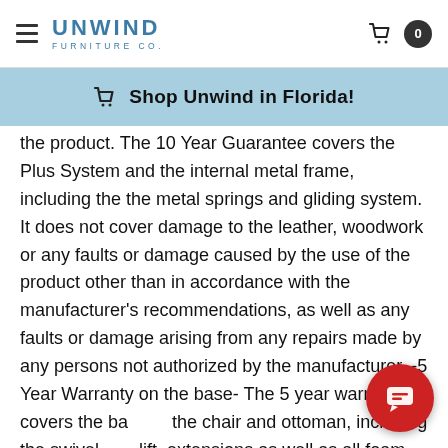Unwind Furniture Co. — navigation header with cart icon
Shop Unwind in Florida!
the product. The 10 Year Guarantee covers the Plus System and the internal metal frame, including the the metal springs and gliding system. It does not cover damage to the leather, woodwork or any faults or damage caused by the use of the product other than in accordance with the manufacturer's recommendations, as well as any faults or damage arising from any repairs made by any persons not authorized by the manufacturer. -5 Year Warranty on the base- The 5 year warranty covers the base of the chair and ottoman, including the swivel and lift, extensions as well as all foam and interior